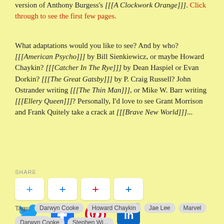version of Anthony Burgess's [[[A Clockwork Orange]]]. Click through to see the first few pages.
What adaptations would you like to see? And by who? [[[American Psycho]]] by Bill Sienkiewicz, or maybe Howard Chaykin? [[[Catcher In The Rye]]] by Dean Haspiel or Evan Dorkin? [[[The Great Gatsby]]] by P. Craig Russell? John Ostrander writing [[[The Thin Man]]], or Mike W. Barr writing [[[Ellery Queen]]]? Personally, I'd love to see Grant Morrison and Frank Quitely take a crack at [[[Brave New World]]]...
SHARE
[Figure (infographic): Four social share buttons with plus icons (Twitter blue, Facebook dark blue, Pinterest red, LinkedIn dark blue), and below them four social media icons: Twitter bird (blue), Facebook f (dark blue square), Pinterest P (red circle), LinkedIn in (teal square).]
Tags: Darwyn Cooke  Howard Chaykin  Jae Lee  Marvel  New York